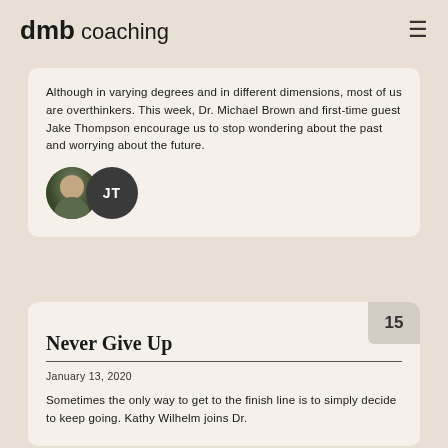dmb coaching
Although in varying degrees and in different dimensions, most of us are overthinkers. This week, Dr. Michael Brown and first-time guest Jake Thompson encourage us to stop wondering about the past and worrying about the future.
[Figure (illustration): Two circular avatar icons side by side: a photo of a man and a dark circle with initials JT]
Never Give Up
January 13, 2020
Sometimes the only way to get to the finish line is to simply decide to keep going. Kathy Wilhelm joins Dr.